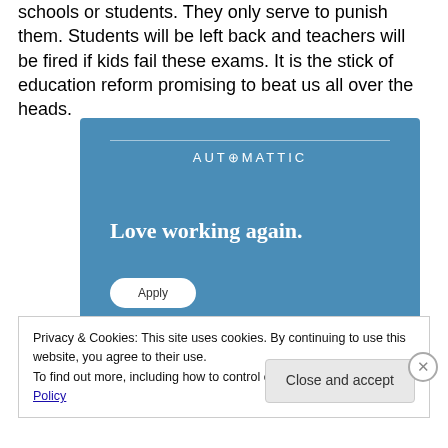schools or students. They only serve to punish them. Students will be left back and teachers will be fired if kids fail these exams. It is the stick of education reform promising to beat us all over the heads.
[Figure (infographic): Automattic advertisement banner with blue background showing 'AUTOMATTIC' brand name, tagline 'Love working again.' and an Apply button]
Privacy & Cookies: This site uses cookies. By continuing to use this website, you agree to their use.
To find out more, including how to control cookies, see here: Cookie Policy